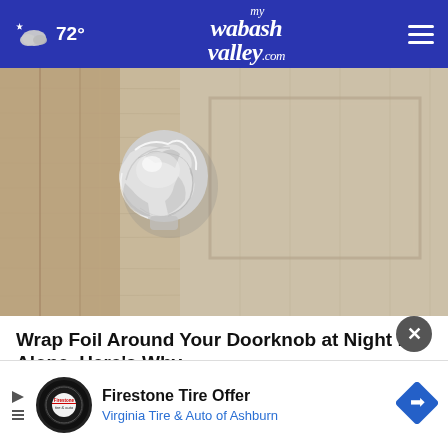72° mywabashvalley.com
[Figure (photo): Close-up photo of a door knob wrapped in crinkled aluminum foil on a wooden door]
Wrap Foil Around Your Doorknob at Night if Alone, Here's Why
Sogoodly
[Figure (photo): Partial second image below article title, partially hidden by advertisement banner]
Firestone Tire Offer Virginia Tire & Auto of Ashburn